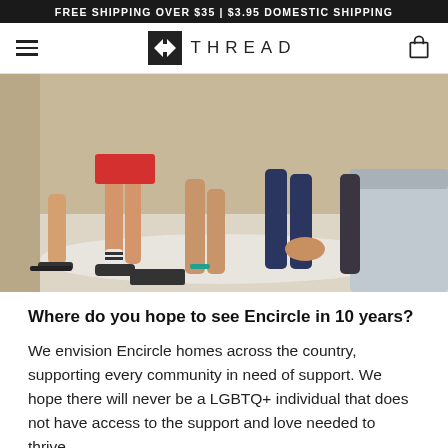FREE SHIPPING OVER $35 | $3.95 DOMESTIC SHIPPING
[Figure (logo): Thread brand logo with double-arrow icon and spaced text]
[Figure (photo): Group of young people sitting together on a couch/floor, legs visible, wearing casual clothing]
Where do you hope to see Encircle in 10 years?
We envision Encircle homes across the country, supporting every community in need of support. We hope there will never be a LGBTQ+ individual that does not have access to the support and love needed to thrive.
What can we do to be more involved in supporting the LGBTQ+ community?
Support can come from the volunteers in Salt Lake City, Provo, and...